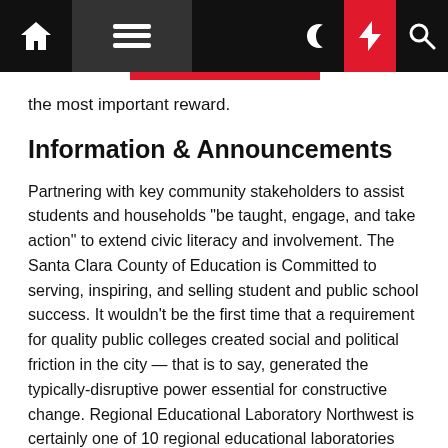Navigation bar with home, menu, moon, lightning, and search icons
the most important reward.
Information & Announcements
Partnering with key community stakeholders to assist students and households "be taught, engage, and take action" to extend civic literacy and involvement. The Santa Clara County of Education is Committed to serving, inspiring, and selling student and public school success. It wouldn't be the first time that a requirement for quality public colleges created social and political friction in the city — that is to say, generated the typically-disruptive power essential for constructive change. Regional Educational Laboratory Northwest is certainly one of 10 regional educational laboratories across the nation dedicated to enhancing using